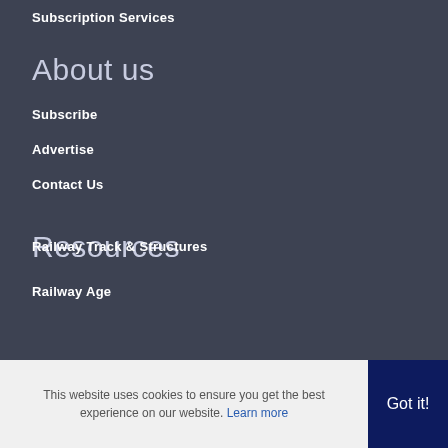Subscription Services
About us
Subscribe
Advertise
Contact Us
Resources
Railway Age
Railway Track & Structures
This website uses cookies to ensure you get the best experience on our website. Learn more
Got it!